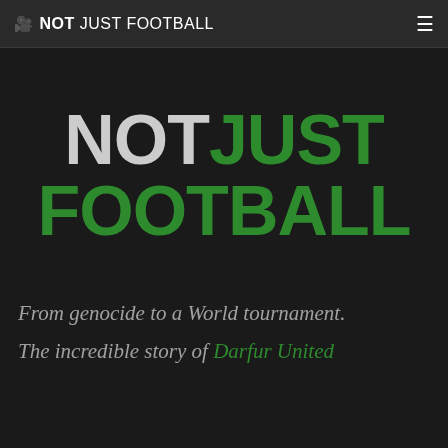NOT JUST FOOTBALL
NOT JUST FOOTBALL
From genocide to a World tournament.
The incredible story of Darfur United